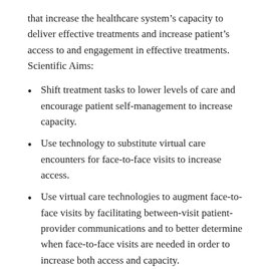that increase the healthcare system's capacity to deliver effective treatments and increase patient's access to and engagement in effective treatments. Scientific Aims:
Shift treatment tasks to lower levels of care and encourage patient self-management to increase capacity.
Use technology to substitute virtual care encounters for face-to-face visits to increase access.
Use virtual care technologies to augment face-to-face visits by facilitating between-visit patient-provider communications and to better determine when face-to-face visits are needed in order to increase both access and capacity.
“Flip the clinic” and deliver care in non-traditional settings, including the home, to increase access.